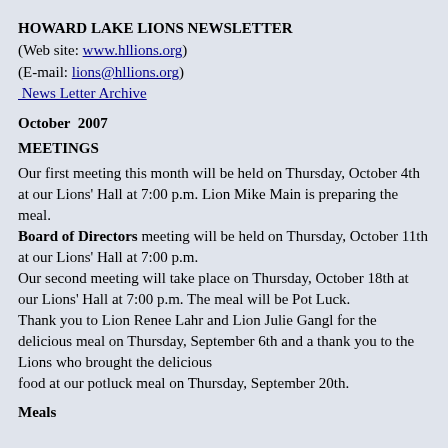HOWARD LAKE LIONS NEWSLETTER
(Web site: www.hllions.org)
(E-mail: lions@hllions.org)
News Letter Archive
October  2007
MEETINGS
Our first meeting this month will be held on Thursday, October 4th at our Lions' Hall at 7:00 p.m. Lion Mike Main is preparing the meal.
Board of Directors meeting will be held on Thursday, October 11th at our Lions' Hall at 7:00 p.m.
Our second meeting will take place on Thursday, October 18th at our Lions' Hall at 7:00 p.m. The meal will be Pot Luck.
Thank you to Lion Renee Lahr and Lion Julie Gangl for the delicious meal on Thursday, September 6th and a thank you to the Lions who brought the delicious food at our potluck meal on Thursday, September 20th.
Meals